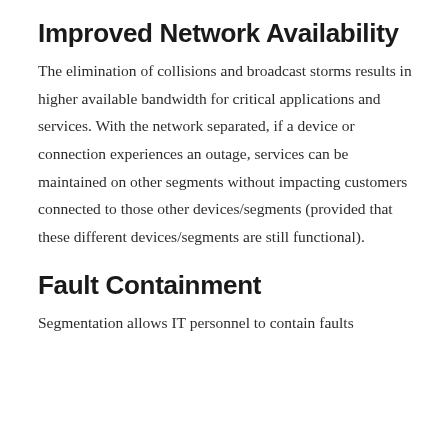Improved Network Availability
The elimination of collisions and broadcast storms results in higher available bandwidth for critical applications and services. With the network separated, if a device or connection experiences an outage, services can be maintained on other segments without impacting customers connected to those other devices/segments (provided that these different devices/segments are still functional).
Fault Containment
Segmentation allows IT personnel to contain faults